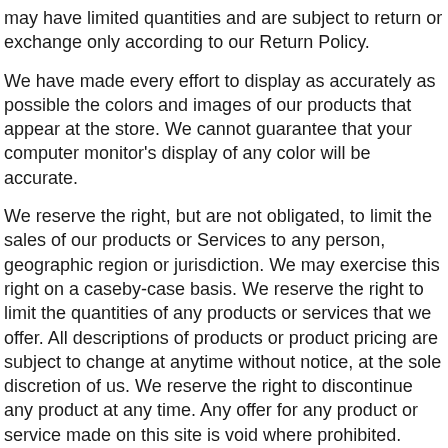may have limited quantities and are subject to return or exchange only according to our Return Policy.
We have made every effort to display as accurately as possible the colors and images of our products that appear at the store. We cannot guarantee that your computer monitor's display of any color will be accurate.
We reserve the right, but are not obligated, to limit the sales of our products or Services to any person, geographic region or jurisdiction. We may exercise this right on a caseby-case basis. We reserve the right to limit the quantities of any products or services that we offer. All descriptions of products or product pricing are subject to change at anytime without notice, at the sole discretion of us. We reserve the right to discontinue any product at any time. Any offer for any product or service made on this site is void where prohibited.